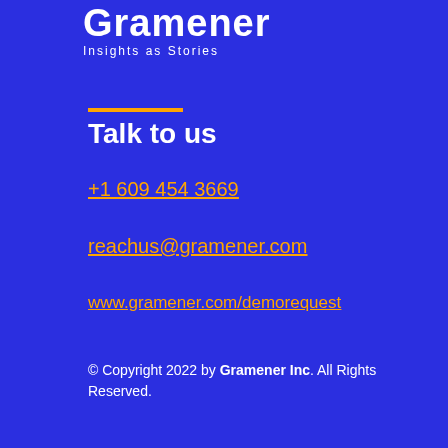[Figure (logo): Gramener logo with text 'Gramener' and tagline 'Insights as Stories' on blue background]
Talk to us
+1 609 454 3669
reachus@gramener.com
www.gramener.com/demorequest
© Copyright 2022 by Gramener Inc. All Rights Reserved.